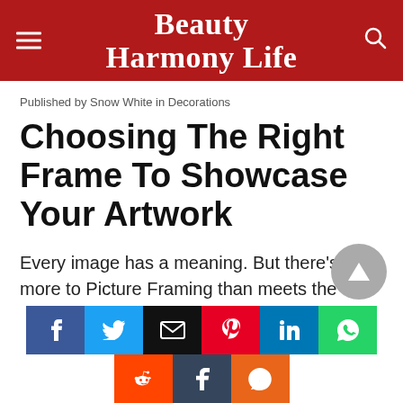Beauty Harmony Life
Published by Snow White in Decorations
Choosing The Right Frame To Showcase Your Artwork
Every image has a meaning. But there’s more to Picture Framing than meets the eye.